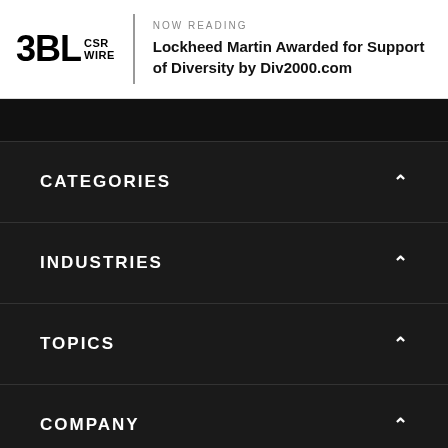3BL CSR WIRE | NOW READING: Lockheed Martin Awarded for Support of Diversity by Div2000.com
CATEGORIES
INDUSTRIES
TOPICS
COMPANY
MORE